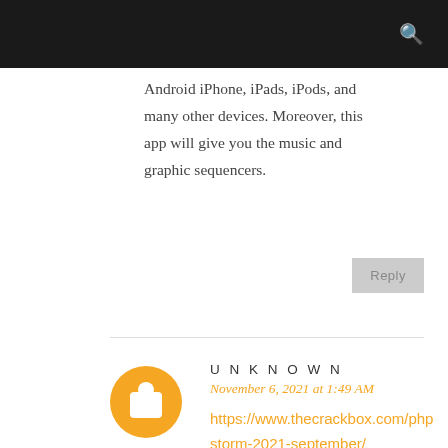Android iPhone, iPads, iPods, and many other devices. Moreover, this app will give you the music and graphic sequencers.
Reply
UNKNOWN
November 6, 2021 at 1:49 AM
https://www.thecrackbox.com/phpstorm-2021-september/
PHP programmers will probably soon be mindful of how fickle PHP